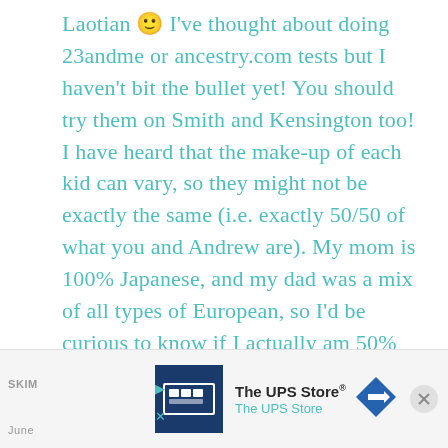Laotian 🙂 I've thought about doing 23andme or ancestry.com tests but I haven't bit the bullet yet! You should try them on Smith and Kensington too! I have heard that the make-up of each kid can vary, so they might not be exactly the same (i.e. exactly 50/50 of what you and Andrew are). My mom is 100% Japanese, and my dad was a mix of all types of European, so I'd be curious to know if I actually am 50% Japanese according to the test. I certainly don't look it – haha! Thanks for sharing Shay!
[Figure (other): The UPS Store advertisement banner at the bottom of the page, showing The UPS Store logo, name, and a blue navigation arrow icon. Partial SKIM and June text visible on the left side.]